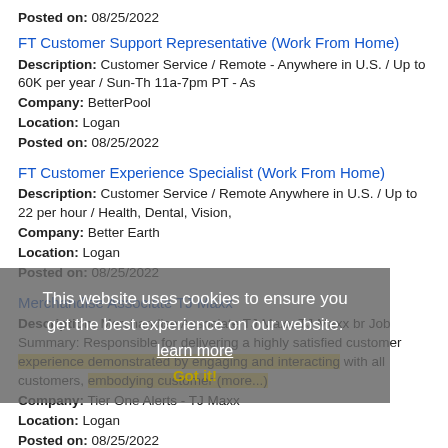Posted on: 08/25/2022
FT Customer Support Representative (Work From Home)
Description: Customer Service / Remote - Anywhere in U.S. / Up to 60K per year / Sun-Th 11a-7pm PT - As
Company: BetterPool
Location: Logan
Posted on: 08/25/2022
FT Customer Experience Specialist (Work From Home)
Description: Customer Service / Remote Anywhere in U.S. / Up to 22 per hour / Health, Dental, Vision,
Company: Better Earth
Location: Logan
Posted on: 08/25/2022
Merchandise Associate TJ Maxx
Description: Merchandise Associate TJ Maxx-TJ Maxx br Job Summary: Responsible for delivering a highly satisfied customer experience demonstrated by engaging and interacting with all customers, embodying customer (more...)
Company: Tier One Alerts - TJ Maxx
Location: Logan
Posted on: 08/25/2022
This website uses cookies to ensure you get the best experience on our website. learn more Got it!